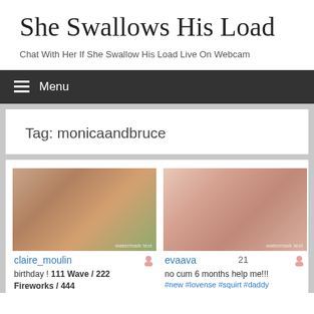She Swallows His Load
Chat With Her If She Swallow His Load Live On Webcam
Menu
Tag: monicaandbruce
[Figure (photo): Thumbnail image of claire_moulin webcam performer]
claire_moulin
birthday ! 111 Wave / 222 Fireworks / 444
[Figure (photo): Thumbnail image of evaava webcam performer]
evaava  21
no cum 6 months help me!!!
#new #lovense #squirt #daddy